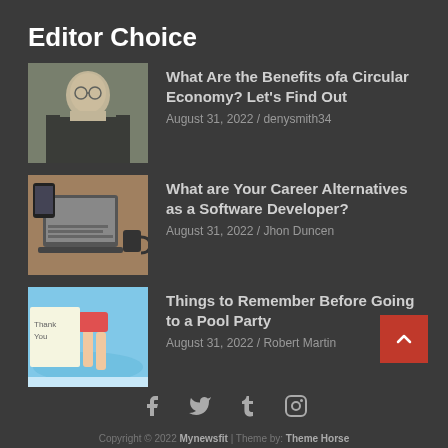Editor Choice
What Are the Benefits ofa Circular Economy? Let's Find Out | August 31, 2022 / denysmith34
What are Your Career Alternatives as a Software Developer? | August 31, 2022 / Jhon Duncen
Things to Remember Before Going to a Pool Party | August 31, 2022 / Robert Martin
Copyright © 2022 Mynewsfit | Theme by: Theme Horse